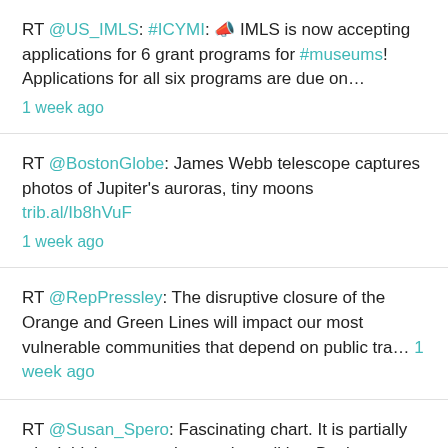RT @US_IMLS: #ICYMI: 📣 IMLS is now accepting applications for 6 grant programs for #museums! Applications for all six programs are due on... 1 week ago
RT @BostonGlobe: James Webb telescope captures photos of Jupiter's auroras, tiny moons trib.al/Ib8hVuF 1 week ago
RT @RepPressley: The disruptive closure of the Orange and Green Lines will impact our most vulnerable communities that depend on public tra... 1 week ago
RT @Susan_Spero: Fascinating chart. It is partially why I think we can change the politics. But it means voting: EVERY. SINGLE. TIME. 2 weeks ago